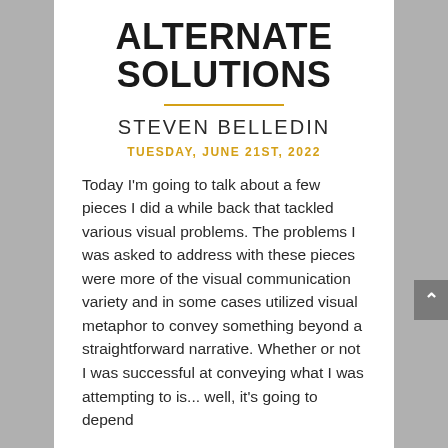ALTERNATE SOLUTIONS
STEVEN BELLEDIN
TUESDAY, JUNE 21ST, 2022
Today I'm going to talk about a few pieces I did a while back that tackled various visual problems. The problems I was asked to address with these pieces were more of the visual communication variety and in some cases utilized visual metaphor to convey something beyond a straightforward narrative. Whether or not I was successful at conveying what I was attempting to is... well, it's going to depend